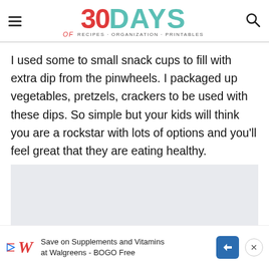30 DAYS of RECIPES · ORGANIZATION · PRINTABLES
I used some to small snack cups to fill with extra dip from the pinwheels.  I packaged up vegetables, pretzels, crackers to be used with these dips.  So simple but your kids will think you are a rockstar with lots of options and you'll feel great that they are eating healthy.
[Figure (other): Gray placeholder advertisement box]
Save on Supplements and Vitamins at Walgreens - BOGO Free